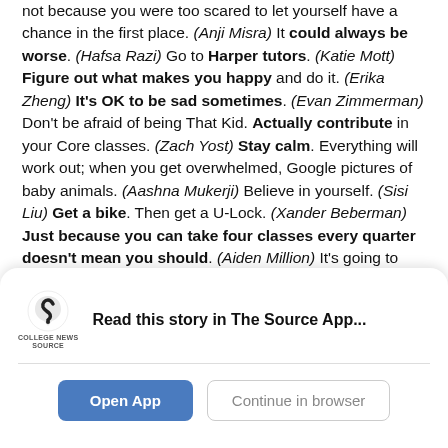not because you were too scared to let yourself have a chance in the first place. (Anji Misra) It could always be worse. (Hafsa Razi) Go to Harper tutors. (Katie Mott) Figure out what makes you happy and do it. (Erika Zheng) It's OK to be sad sometimes. (Evan Zimmerman) Don't be afraid of being That Kid. Actually contribute in your Core classes. (Zach Yost) Stay calm. Everything will work out; when you get overwhelmed, Google pictures of baby animals. (Aashna Mukerji) Believe in yourself. (Sisi Liu) Get a bike. Then get a U-Lock. (Xander Beberman) Just because you can take four classes every quarter doesn't mean you should. (Aiden Million) It's going to
[Figure (screenshot): App download banner with College News Source logo, 'Read this story in The Source App...' text, and two buttons: 'Open App' and 'Continue in browser']